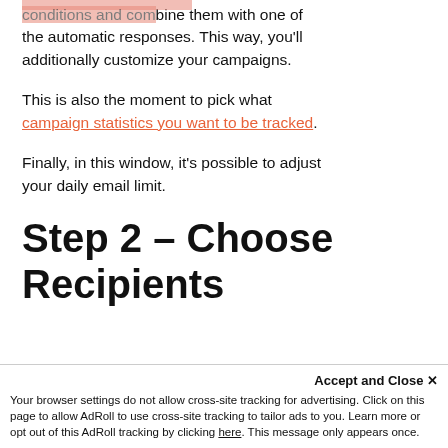conditions and combine them with one of the automatic responses. This way, you'll additionally customize your campaigns.
This is also the moment to pick what campaign statistics you want to be tracked.
Finally, in this window, it's possible to adjust your daily email limit.
Step 2 – Choose Recipients
Accept and Close ✕
Your browser settings do not allow cross-site tracking for advertising. Click on this page to allow AdRoll to use cross-site tracking to tailor ads to you. Learn more or opt out of this AdRoll tracking by clicking here. This message only appears once.